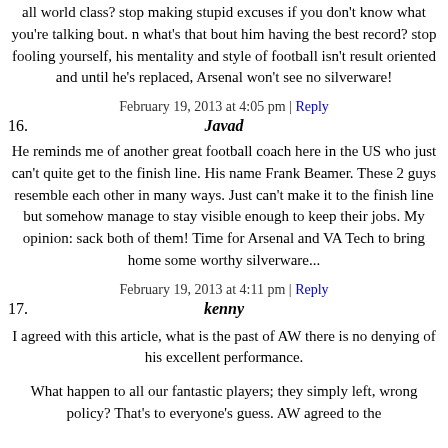all world class? stop making stupid excuses if you don't know what you're talking bout. n what's that bout him having the best record? stop fooling yourself, his mentality and style of football isn't result oriented and until he's replaced, Arsenal won't see no silverware!
February 19, 2013 at 4:05 pm | Reply
16. Javad
He reminds me of another great football coach here in the US who just can't quite get to the finish line. His name Frank Beamer. These 2 guys resemble each other in many ways. Just can't make it to the finish line but somehow manage to stay visible enough to keep their jobs. My opinion: sack both of them! Time for Arsenal and VA Tech to bring home some worthy silverware...
February 19, 2013 at 4:11 pm | Reply
17. kenny
I agreed with this article, what is the past of AW there is no denying of his excellent performance.
What happen to all our fantastic players; they simply left, wrong policy? That's to everyone's guess. AW agreed to the